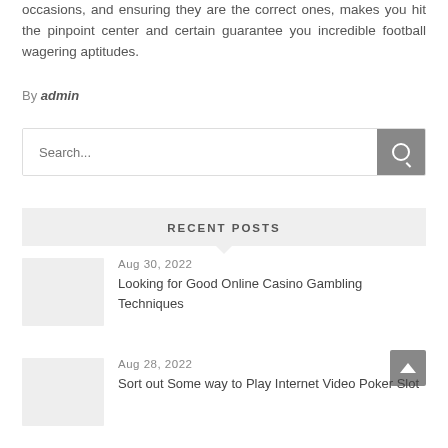occasions, and ensuring they are the correct ones, makes you hit the pinpoint center and certain guarantee you incredible football wagering aptitudes.
By admin
[Figure (screenshot): Search input box with a magnifying glass icon button on the right]
RECENT POSTS
Aug 30, 2022
Looking for Good Online Casino Gambling Techniques
Aug 28, 2022
Sort out Some way to Play Internet Video Poker Slot